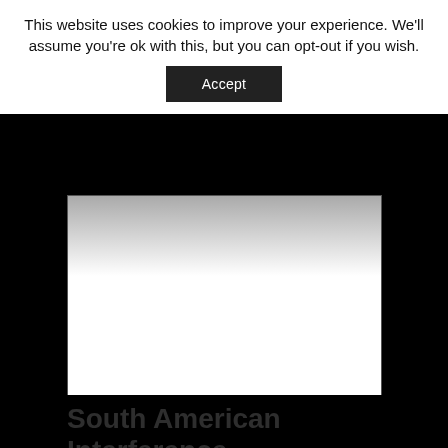This website uses cookies to improve your experience. We'll assume you're ok with this, but you can opt-out if you wish.
[Figure (screenshot): Cookie consent banner with Accept button over a webpage showing a white document card with gradient top against black background, and partial title text 'South American Interference' at the bottom]
South American Interference